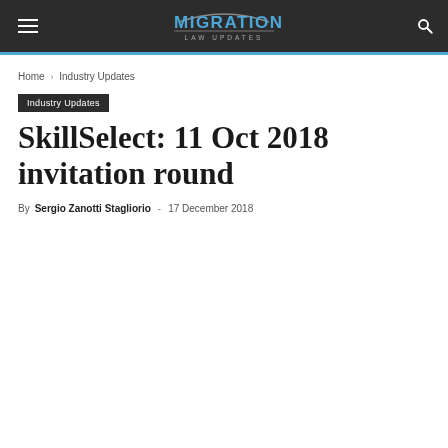Migration Law Updates
Home › Industry Updates
Industry Updates
SkillSelect: 11 Oct 2018 invitation round
By Sergio Zanotti Stagliorio - 17 December 2018